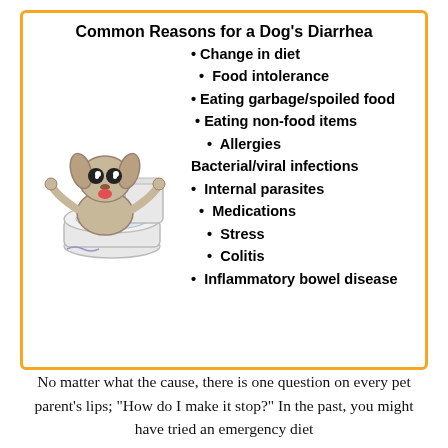Common Reasons for a Dog's Diarrhea
Change in diet
Food intolerance
Eating garbage/spoiled food
Eating non-food items
Allergies
Bacterial/viral infections
Internal parasites
Medications
Stress
Colitis
Inflammatory bowel disease
[Figure (illustration): Cartoon illustration of a dog sitting on a toilet]
No matter what the cause, there is one question on every pet parent’s lips; “How do I make it stop?” In the past, you might have tried an emergency diet